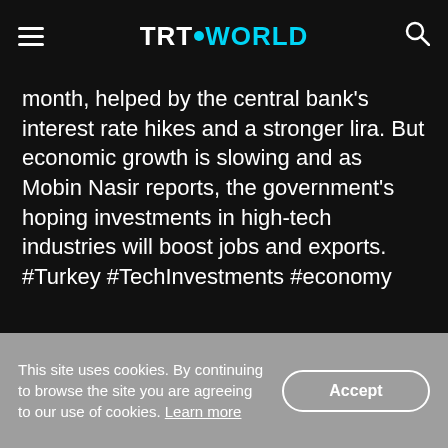TRT WORLD
month, helped by the central bank's interest rate hikes and a stronger lira. But economic growth is slowing and as Mobin Nasir reports, the government's hoping investments in high-tech industries will boost jobs and exports. #Turkey #TechInvestments #economy
Related Videos
This site uses cookies. By continuing to browse the site you are agreeing to our use of cookies. Learn more